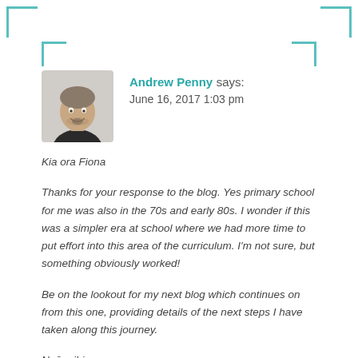Andrew Penny says:
June 16, 2017 1:03 pm
Kia ora Fiona
Thanks for your response to the blog. Yes primary school for me was also in the 70s and early 80s. I wonder if this was a simpler era at school where we had more time to put effort into this area of the curriculum. I'm not sure, but something obviously worked!
Be on the lookout for my next blog which continues on from this one, providing details of the next steps I have taken along this journey.
Ngā mihi,